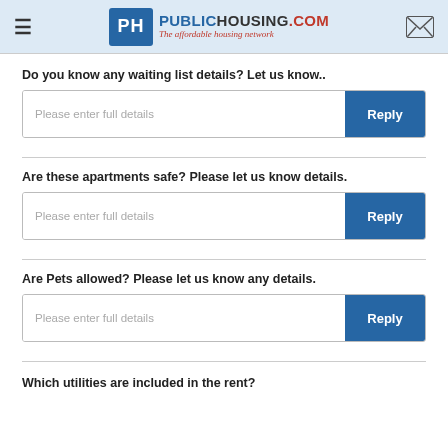PublicHousing.com - The affordable housing network
Do you know any waiting list details? Let us know..
Please enter full details | Reply
Are these apartments safe? Please let us know details.
Please enter full details | Reply
Are Pets allowed? Please let us know any details.
Please enter full details | Reply
Which utilities are included in the rent?